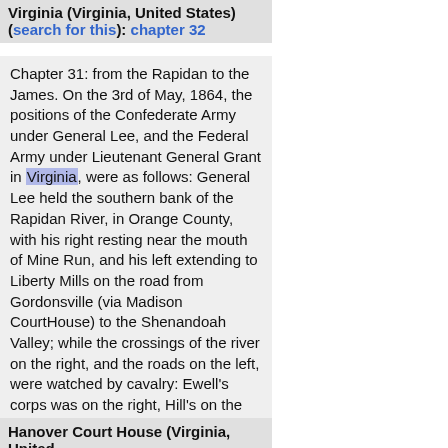Virginia (Virginia, United States) (search for this): chapter 32
Chapter 31: from the Rapidan to the James. On the 3rd of May, 1864, the positions of the Confederate Army under General Lee, and the Federal Army under Lieutenant General Grant in Virginia, were as follows: General Lee held the southern bank of the Rapidan River, in Orange County, with his right resting near the mouth of Mine Run, and his left extending to Liberty Mills on the road from Gordonsville (via Madison CourtHouse) to the Shenandoah Valley; while the crossings of the river on the right, and the roads on the left, were watched by cavalry: Ewell's corps was on the right, Hill's on the left, and two divisions of Longstreet's corps were encamped in the rear, near Gordonsville. Grant's army (composed of the Army of the Potomac under Meade, and the 9th corps under Burnside) occupied the north banks of the Rapidan and Robinson rivers; the main body being encamped in Culpeper County and on the Rappahannock River. I am satisfied that General Lee's army did not exceed 50,000
Hanover Court House (Virginia, United